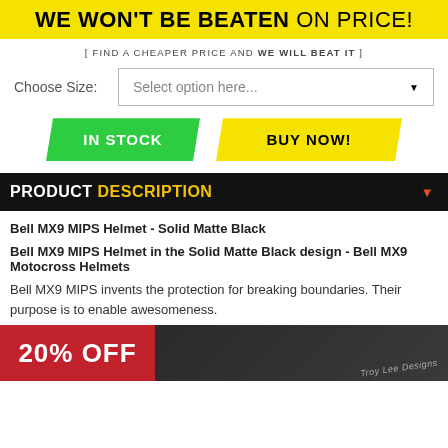WE WON'T BE BEATEN ON PRICE!
[ FIND A CHEAPER PRICE AND WE WILL BEAT IT ]
Choose Size: Select option here...
IN STOCK
BUY NOW!
PRODUCT DESCRIPTION
Bell MX9 MIPS Helmet - Solid Matte Black
Bell MX9 MIPS Helmet in the Solid Matte Black design - Bell MX9 Motocross Helmets
Bell MX9 MIPS invents the protection for breaking boundaries. Their purpose is to enable awesomeness.
[Figure (photo): Promotional banner showing 20% OFF with a motocross helmet image]